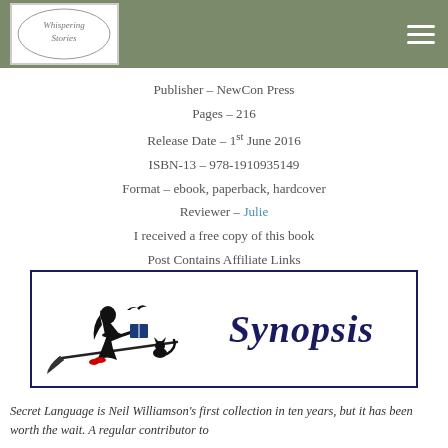Whispering Stories [logo] [hamburger menu]
Publisher – NewCon Press
Pages – 216
Release Date – 1st June 2016
ISBN-13 – 978-1910935149
Format – ebook, paperback, hardcover
Reviewer – Julie
I received a free copy of this book
Post Contains Affiliate Links
[Figure (illustration): Synopsis banner image with a witch silhouette riding a broomstick with a cat, and the word 'Synopsis' in bold dark blue text, inside a dark navy border box.]
Secret Language is Neil Williamson's first collection in ten years, but it has been worth the wait. A regular contributor to